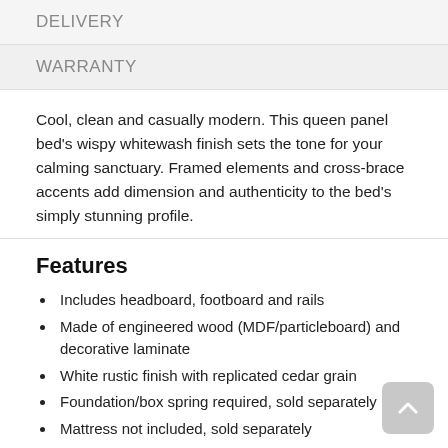DELIVERY
WARRANTY
Cool, clean and casually modern. This queen panel bed's wispy whitewash finish sets the tone for your calming sanctuary. Framed elements and cross-brace accents add dimension and authenticity to the bed's simply stunning profile.
Features
Includes headboard, footboard and rails
Made of engineered wood (MDF/particleboard) and decorative laminate
White rustic finish with replicated cedar grain
Foundation/box spring required, sold separately
Mattress not included, sold separately